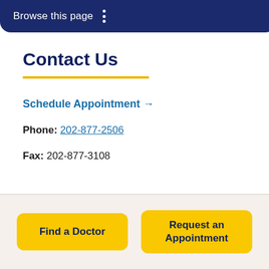Browse this page
Contact Us
Schedule Appointment →
Phone: 202-877-2506
Fax: 202-877-3108
Find a Doctor
Request an Appointment